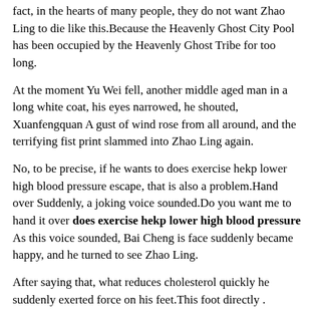fact, in the hearts of many people, they do not want Zhao Ling to die like this.Because the Heavenly Ghost City Pool has been occupied by the Heavenly Ghost Tribe for too long.
At the moment Yu Wei fell, another middle aged man in a long white coat, his eyes narrowed, he shouted, Xuanfengquan A gust of wind rose from all around, and the terrifying fist print slammed into Zhao Ling again.
No, to be precise, if he wants to does exercise hekp lower high blood pressure escape, that is also a problem.Hand over Suddenly, a joking voice sounded.Do you want me to hand it over does exercise hekp lower high blood pressure As this voice sounded, Bai Cheng is face suddenly became happy, and he turned to see Zhao Ling.
After saying that, what reduces cholesterol quickly he suddenly exerted force on his feet.This foot directly .
Can chinese herbs lower blood pressure?
smashed Zhao Ziqiang is spine.Zhao Ziqiang screamed in pain.Patriarch Everyone is expressions changed drastically, they stopped immediately, and looked at Zhang Long with anger.